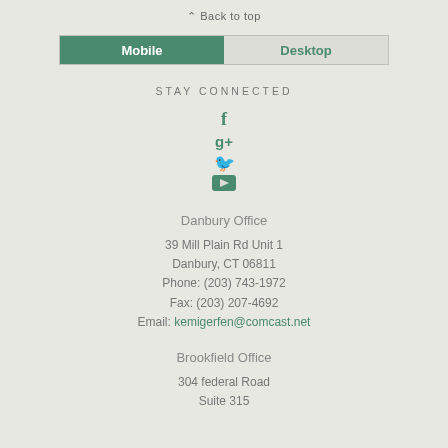⌃ Back to top
Mobile | Desktop
STAY CONNECTED
[Figure (infographic): Social media icons: Facebook, Google+, Twitter, YouTube in teal/green color]
Danbury Office
39 Mill Plain Rd Unit 1
Danbury, CT 06811
Phone: (203) 743-1972
Fax: (203) 207-4692
Email: kemigerfen@comcast.net
Brookfield Office
304 federal Road
Suite 315